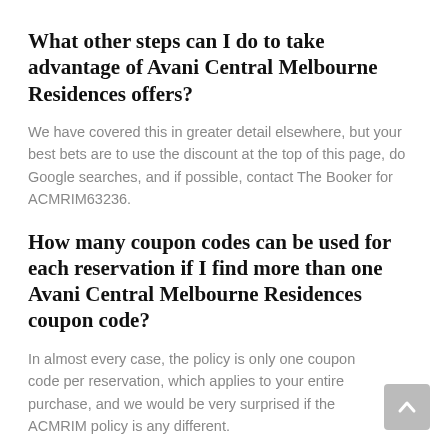What other steps can I do to take advantage of Avani Central Melbourne Residences offers?
We have covered this in greater detail elsewhere, but your best bets are to use the discount at the top of this page, do Google searches, and if possible, contact The Booker for ACMRIM63236.
How many coupon codes can be used for each reservation if I find more than one Avani Central Melbourne Residences coupon code?
In almost every case, the policy is only one coupon code per reservation, which applies to your entire purchase, and we would be very surprised if the ACMRIM policy is any different.